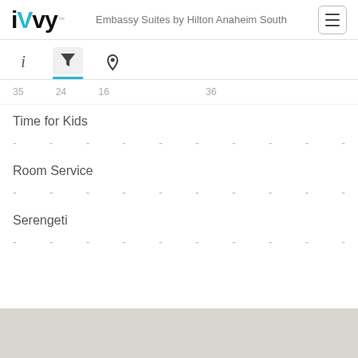iVvy — Embassy Suites by Hilton Anaheim South
33  24  16  36
Time for Kids
- - - - - - - - - -
Room Service
- - - - - - - - - -
Serengeti
- - - - - - - - - -
[Figure (map): Gray map area at the bottom of the page]